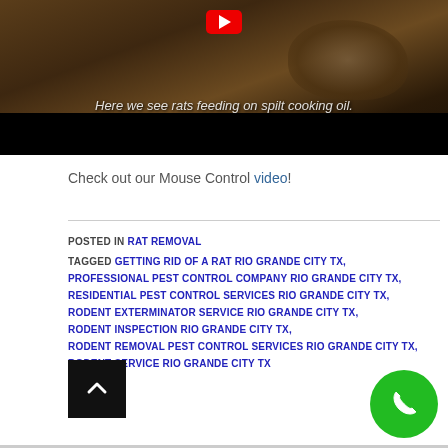[Figure (screenshot): Video thumbnail showing a rat/mouse in brown dirt/hay environment with subtitle text 'Here we see rats feeding on spilt cooking oil.' and a red YouTube play button at top, with a black bar at the bottom of the video frame.]
Check out our Mouse Control video!
POSTED IN RAT REMOVAL
TAGGED GETTING RID OF A RAT RIO GRANDE CITY TX, PROFESSIONAL PEST CONTROL COMPANY RIO GRANDE CITY TX, RESIDENTIAL PEST CONTROL SERVICES RIO GRANDE CITY TX, RODENT EXTERMINATOR SERVICE RIO GRANDE CITY TX, RODENT INSPECTION RIO GRANDE CITY TX, RODENT REMOVAL PEST CONTROL SERVICES RIO GRANDE CITY TX, RODENT SERVICE RIO GRANDE CITY TX